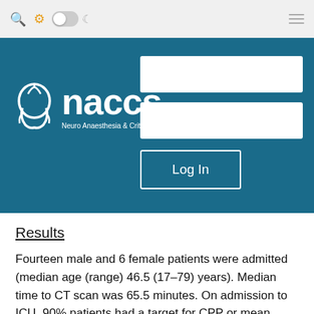[Figure (screenshot): Website toolbar with search icon, gear icon (orange), toggle switch, moon icon on left, and hamburger menu on right, on a light grey background]
[Figure (logo): NACCS (Neuro Anaesthesia & Critical Care Society) login banner with teal background, logo with stylized head graphic, naccs text, subtitle, and two white input boxes plus a Log In button]
Results
Fourteen male and 6 female patients were admitted (median age (range) 46.5 (17–79) years). Median time to CT scan was 65.5 minutes. On admission to ICU, 90% patients had a target for CPP or mean arterial pressure (MAP)